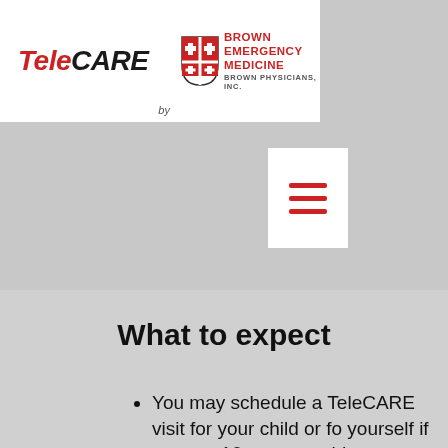TeleCARE by BROWN EMERGENCY MEDICINE BROWN PHYSICIANS, INC.
What to expect
You may schedule a TeleCARE visit for your child or fo yourself if you are 16 years or older at your convenience with a pediatric emergency physician